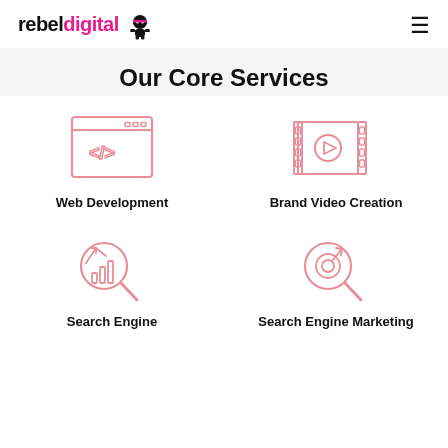rebeldigital [ninja icon]
Our Core Services
[Figure (illustration): Web development icon: browser window with code tags </> in pink outline style]
Web Development
[Figure (illustration): Brand video creation icon: film strip with play button in pink outline style]
Brand Video Creation
[Figure (illustration): Search engine icon: magnifying glass with bar chart and upward arrow in pink outline style]
Search Engine
[Figure (illustration): Search engine marketing icon: magnifying glass with target/bullseye and arrow in pink outline style]
Search Engine Marketing